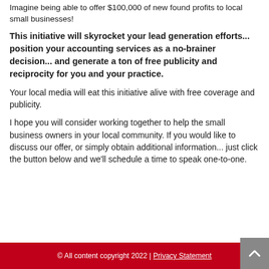Imagine being able to offer $100,000 of new found profits to local small businesses!
This initiative will skyrocket your lead generation efforts... position your accounting services as a no-brainer decision... and generate a ton of free publicity and reciprocity for you and your practice.
Your local media will eat this initiative alive with free coverage and publicity.
I hope you will consider working together to help the small business owners in your local community. If you would like to discuss our offer, or simply obtain additional information... just click the button below and we'll schedule a time to speak one-to-one.
© All content copyright 2022 | Privacy Statement